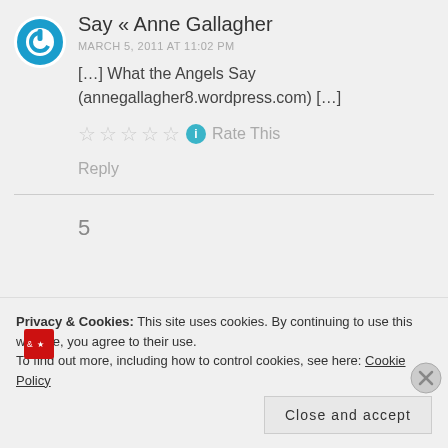[Figure (logo): Blue circular power/avatar icon for Anne Gallagher comment]
Say « Anne Gallagher
MARCH 5, 2011 AT 11:02 PM
[…] What the Angels Say (annegallagher8.wordpress.com) […]
[Figure (other): Five empty star rating icons with info circle and Rate This text]
Reply
Privacy & Cookies: This site uses cookies. By continuing to use this website, you agree to their use. To find out more, including how to control cookies, see here: Cookie Policy
Close and accept